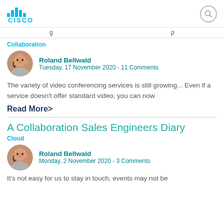[Figure (logo): Cisco logo with teal bars and wordmark]
Collaboration
[Figure (photo): Circular headshot of Roland Bellwald]
Roland Bellwald
Tuesday, 17 November 2020 - 11 Comments
The variety of video conferencing services is still growing... Even if a service doesn't offer standard video, you can now
Read More>
A Collaboration Sales Engineers Diary
Cloud
[Figure (photo): Circular headshot of Roland Bellwald]
Roland Bellwald
Monday, 2 November 2020 - 3 Comments
It's not easy for us to stay in touch, events may not be